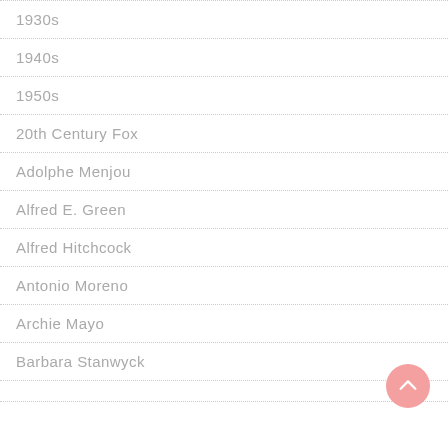1930s
1940s
1950s
20th Century Fox
Adolphe Menjou
Alfred E. Green
Alfred Hitchcock
Antonio Moreno
Archie Mayo
Barbara Stanwyck